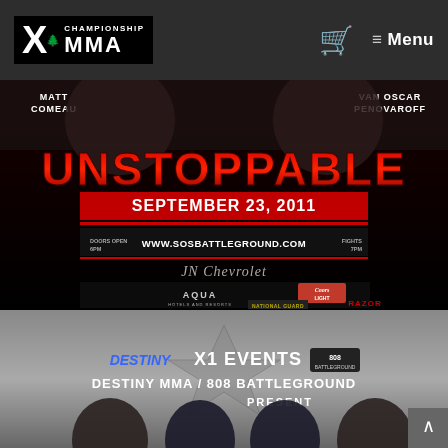X1 Championship MMA — Navigation bar with logo, cart icon, and Menu
[Figure (photo): MMA event promotional poster reading UNSTOPPABLE, September 23, 2011. Fighters Matt Comeau vs Van Oscar Penovaroff. Website www.sosbattleground.com. Doors open 6PM, Fights 7PM. Sponsors include JN Chevrolet, Aqua Hotels and Resorts, Coors Light, National Guard, Razor, and others.]
[Figure (photo): X1 Events promotional banner for Destiny MMA / 808 Battleground Present event. Shows fighter faces and X1 Events logo with Destiny MMA and 808 Battleground logos.]